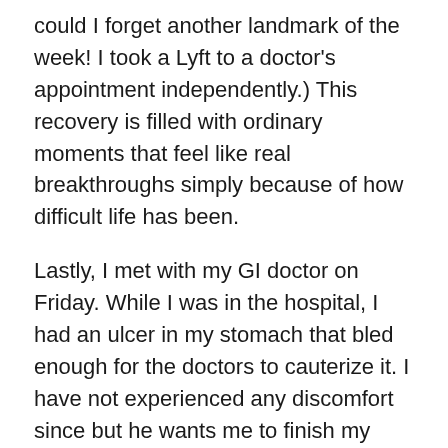could I forget another landmark of the week! I took a Lyft to a doctor's appointment independently.) This recovery is filled with ordinary moments that feel like real breakthroughs simply because of how difficult life has been.
Lastly, I met with my GI doctor on Friday. While I was in the hospital, I had an ulcer in my stomach that bled enough for the doctors to cauterize it. I have not experienced any discomfort since but he wants me to finish my omeprazole and do a stool lab in the upcoming weeks.
We celebrated Bri yesterday (truly, I thank God for Bri everyday) and were supposed to have a date today but that fatigue hit me like a ton of bricks. I felt like crap emotionally because I really wanted to go out today but